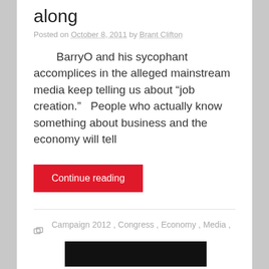along
Posted on October 8, 2011 by Brant Clifton
BarryO and his sycophant accomplices in the alleged mainstream media keep telling us about “job creation.”   People who actually know something about business and the economy will tell
Continue reading
Campaign 2012 , Congress , Economy , Media , Obama , Politics , Republicans